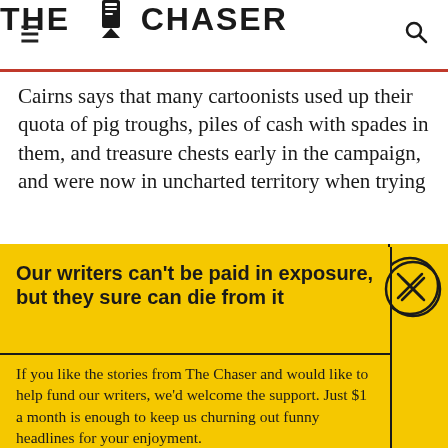THE CHASER
Cairns says that many cartoonists used up their quota of pig troughs, piles of cash with spades in them, and treasure chests early in the campaign, and were now in uncharted territory when trying
Our writers can't be paid in exposure, but they sure can die from it
If you like the stories from The Chaser and would like to help fund our writers, we'd welcome the support. Just $1 a month is enough to keep us churning out funny headlines for your enjoyment.
Support The Chaser
Sick of this popup? Click here to never see this again.